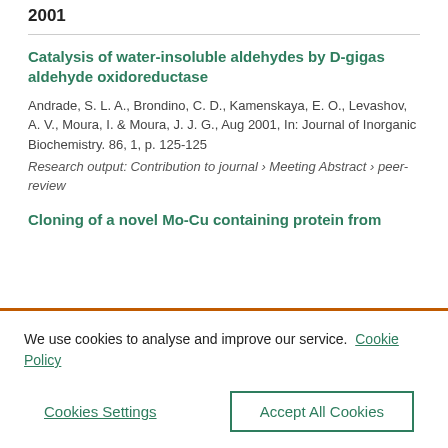2001
Catalysis of water-insoluble aldehydes by D-gigas aldehyde oxidoreductase
Andrade, S. L. A., Brondino, C. D., Kamenskaya, E. O., Levashov, A. V., Moura, I. & Moura, J. J. G., Aug 2001, In: Journal of Inorganic Biochemistry. 86, 1, p. 125-125
Research output: Contribution to journal › Meeting Abstract › peer-review
Cloning of a novel Mo-Cu containing protein from D...
We use cookies to analyse and improve our service.  Cookie Policy
Cookies Settings
Accept All Cookies